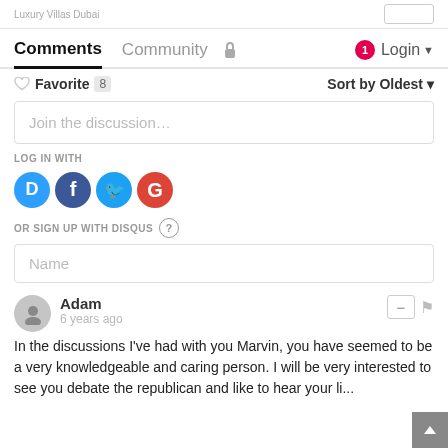Luxury Villas Dubai
Comments  Community  🔒  1  Login
♡ Favorite 8   Sort by Oldest
Join the discussion…
LOG IN WITH
[Figure (illustration): Four social login icons: Disqus (blue), Facebook (dark blue), Twitter (light blue), Google (red)]
OR SIGN UP WITH DISQUS ?
Name
Adam
6 years ago
In the discussions I've had with you Marvin, you have seemed to be a very knowledgeable and caring person. I will be very interested to see you debate the republican and like to hear your li...